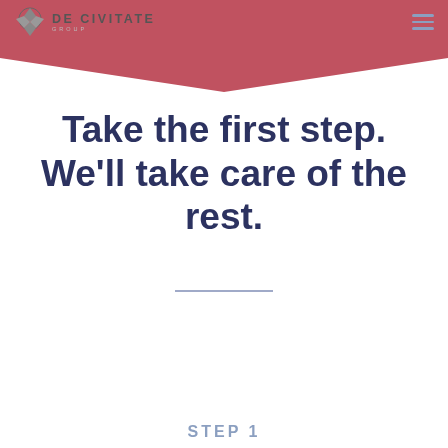DE CIVITATE
[Figure (illustration): Red downward-pointing chevron/arrow shape at the top of the page]
Take the first step. We'll take care of the rest.
STEP 1